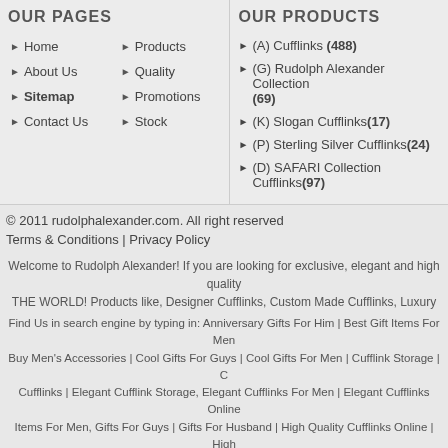OUR PAGES
Home
Products
About Us
Quality
Sitemap
Promotions
Contact Us
Stock
OUR PRODUCTS
(A) Cufflinks (488)
(G) Rudolph Alexander Collection (69)
(K) Slogan Cufflinks(17)
(P) Sterling Silver Cufflinks(24)
(D) SAFARI Collection Cufflinks(97)
© 2011 rudolphalexander.com. All right reserved
Terms & Conditions | Privacy Policy
Welcome to Rudolph Alexander! If you are looking for exclusive, elegant and high quality THE WORLD! Products like, Designer Cufflinks, Custom Made Cufflinks, Luxury
Find Us in search engine by typing in: Anniversary Gifts For Him | Best Gift Items For Men | Buy Men's Accessories | Cool Gifts For Guys | Cool Gifts For Men | Cufflink Storage | Cufflinks | Elegant Cufflink Storage, Elegant Cufflinks For Men | Elegant Cufflinks Online | Items For Men, Gifts For Guys | Gifts For Husband | High Quality Cufflinks Online | High Cufflinks | Men's Fashion Accessories | Men's Gift Items | Men's Neckties | Men's Sport W Gift Items | Quality Cufflinks Online | Quality Packaging | Shop Gift | Items Online | Silver For Men